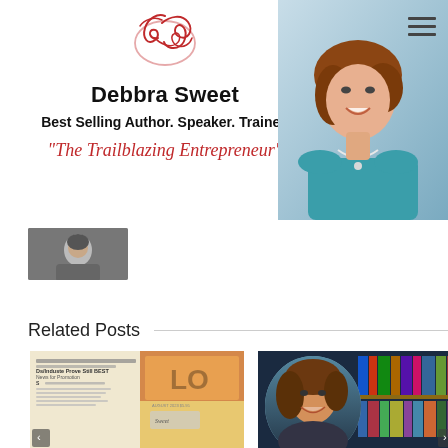[Figure (logo): Cursive/script signature logo in red ink style]
Debbra Sweet
Best Selling Author. Speaker. Trainer.
"The Trailblazing Entrepreneur"
[Figure (photo): Professional headshot of woman with auburn hair wearing teal blazer and pearl necklace]
[Figure (photo): Small thumbnail photo of a woman]
Related Posts
[Figure (photo): Newspaper/magazine article clipping related post thumbnail]
[Figure (photo): Woman with brown hair in front of bookshelves related post thumbnail]